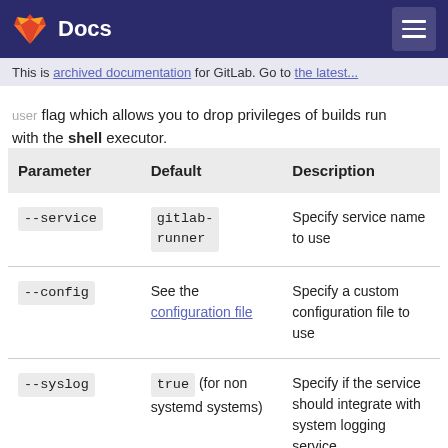Docs
This is archived documentation for GitLab. Go to the latest.
user flag which allows you to drop privileges of builds run with the shell executor.
| Parameter | Default | Description |
| --- | --- | --- |
| --service | gitlab-runner | Specify service name to use |
| --config | See the configuration file | Specify a custom configuration file to use |
| --syslog | true (for non systemd systems) | Specify if the service should integrate with system logging service |